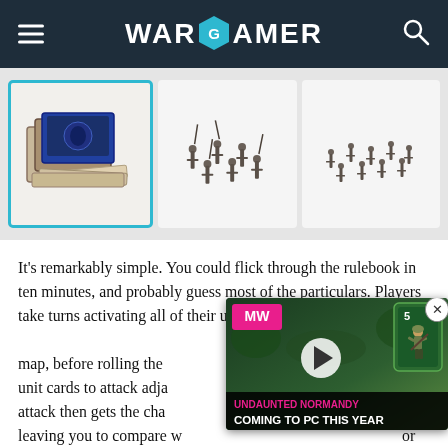WARGAMER
[Figure (photo): Image strip showing three thumbnail images: a board game box set (selected, highlighted in blue), warriors/miniature figures group 1, warriors/miniature figures group 2]
It's remarkably simple. You could flick through the rulebook in ten minutes, and probably guess most of the particulars. Players take turns activating all of their units, moving them a set number of squares on a gridded map, before rolling the dice listed on their unit cards to attack adjacent enemies. Then each attack then gets the chance to retaliate with dice, leaving you to compare whether you rolled sword or shield icons to determine damage.
[Figure (screenshot): Advertisement overlay: Undaunted Normandy - Coming to PC This Year. Shows MW logo in pink, a game card with a soldier figure, play button, and text at bottom on dark background.]